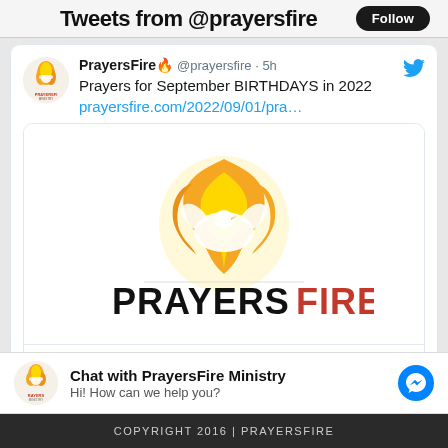Tweets from @prayersfire
PrayersFire🔥 @prayersfire · 5h
Prayers for September BIRTHDAYS in 2022 prayersfire.com/2022/09/01/pra…
[Figure (logo): PrayersFire logo with flame and dove, PRAYERSFIRE text in black and red, link preview card showing prayersfire.com domain]
prayersfire.com
Prayers for September BIRTHDAYS in 2022 | PRAYERS FIRE
Chat with PrayersFire Ministry
Hi! How can we help you?
COPYRIGHT 2016 | PRAYERSFIRE